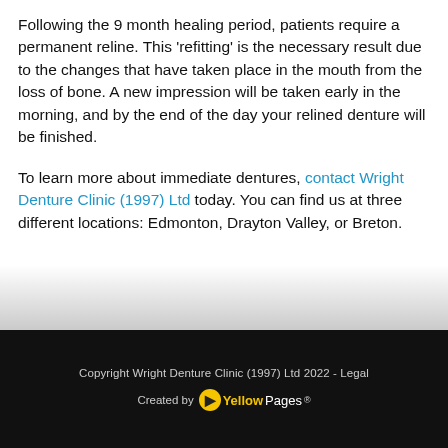Following the 9 month healing period, patients require a permanent reline. This 'refitting' is the necessary result due to the changes that have taken place in the mouth from the loss of bone. A new impression will be taken early in the morning, and by the end of the day your relined denture will be finished.
To learn more about immediate dentures, contact Wright Denture Clinic (1997) Ltd today. You can find us at three different locations: Edmonton, Drayton Valley, or Breton.
Copyright Wright Denture Clinic (1997) Ltd 2022 - Legal
Created by YellowPages